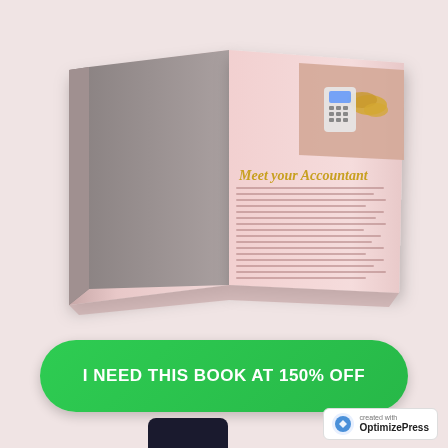[Figure (illustration): An open book with pink pages displayed at an angle. The left page shows text content with 'Your First Order' as a heading. The right page has 'Meet your Accountant' as a heading with a pink background and a photo of a calculator and gold coins in the top right corner. The book is presented in a 3D perspective view.]
I NEED THIS BOOK AT 150% OFF
[Figure (logo): OptimizePress logo badge in the bottom right corner with text 'created with OptimizePress' and a circular logo icon.]